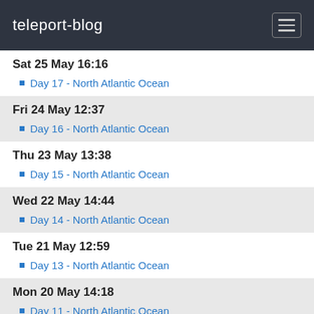teleport-blog
Sat 25 May 16:16
Day 17 - North Atlantic Ocean
Fri 24 May 12:37
Day 16 - North Atlantic Ocean
Thu 23 May 13:38
Day 15 - North Atlantic Ocean
Wed 22 May 14:44
Day 14 - North Atlantic Ocean
Tue 21 May 12:59
Day 13 - North Atlantic Ocean
Mon 20 May 14:18
Day 11 - North Atlantic Ocean
Sun 19 May 11:16
Day 11 - North Atlantic Ocean
Sat 18 May 12:56